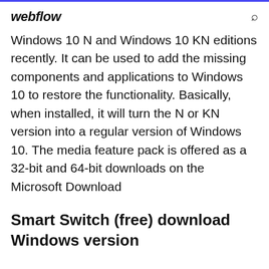webflow
Windows 10 N and Windows 10 KN editions recently. It can be used to add the missing components and applications to Windows 10 to restore the functionality. Basically, when installed, it will turn the N or KN version into a regular version of Windows 10. The media feature pack is offered as a 32-bit and 64-bit downloads on the Microsoft Download
Smart Switch (free) download Windows version